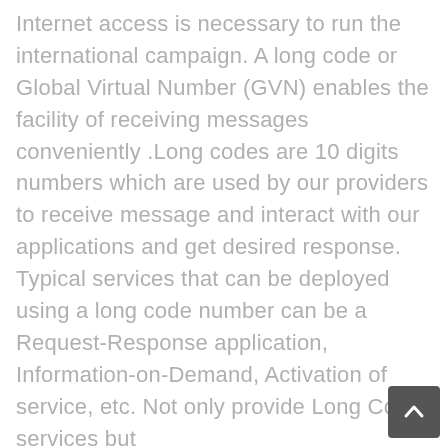Internet access is necessary to run the international campaign. A long code or Global Virtual Number (GVN) enables the facility of receiving messages conveniently .Long codes are 10 digits numbers which are used by our providers to receive message and interact with our applications and get desired response. Typical services that can be deployed using a long code number can be a Request-Response application, Information-on-Demand, Activation of service, etc. Not only provide Long Code services but
[Figure (other): A dark grey back-to-top button with an upward-pointing chevron/arrow icon, positioned in the bottom-right corner.]